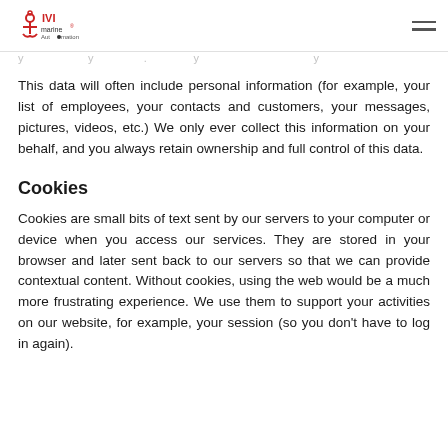IVI marine Automation logo and navigation menu
This data will often include personal information (for example, your list of employees, your contacts and customers, your messages, pictures, videos, etc.) We only ever collect this information on your behalf, and you always retain ownership and full control of this data.
Cookies
Cookies are small bits of text sent by our servers to your computer or device when you access our services. They are stored in your browser and later sent back to our servers so that we can provide contextual content. Without cookies, using the web would be a much more frustrating experience. We use them to support your activities on our website, for example, your session (so you don't have to log in again).